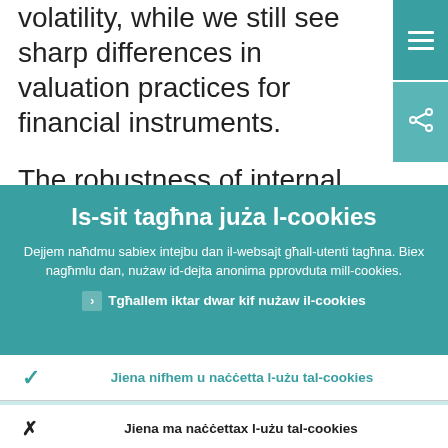volatility, while we still see sharp differences in valuation practices for financial instruments.
The robustness of internal risk
[Figure (screenshot): Hamburger menu button (teal background, three white horizontal lines)]
[Figure (screenshot): Share button (lighter teal background, share icon with white strokes)]
Is-sit tagħna juża l-cookies
Dejjem naħdmu sabiex intejbu dan il-websajt għall-utenti tagħna. Biex nagħmlu dan, nużaw id-dejta anonima pprovduta mill-cookies.
Tgħallem iktar dwar kif nużaw il-cookies
Jiena nifhem u naċċetta l-użu tal-cookies
Jiena ma naċċettax l-użu tal-cookies